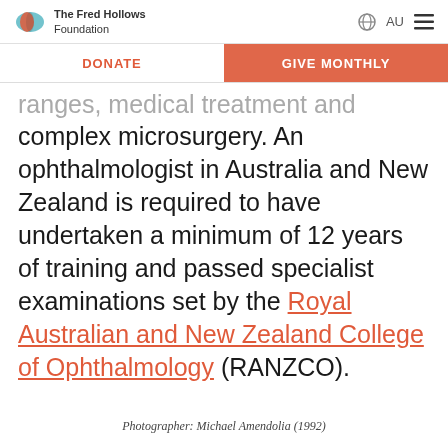The Fred Hollows Foundation | AU
DONATE | GIVE MONTHLY
ranges, medical treatment and complex microsurgery. An ophthalmologist in Australia and New Zealand is required to have undertaken a minimum of 12 years of training and passed specialist examinations set by the Royal Australian and New Zealand College of Ophthalmology (RANZCO).
Photographer: Michael Amendolia (1992)